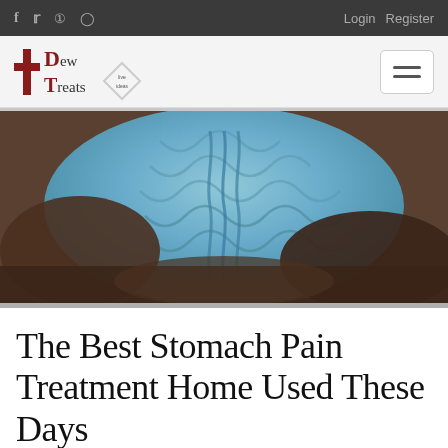f  y  pinterest  instagram  |  Login  Register
[Figure (logo): Dew Treats logo with red D and T letters and a cross symbol with diamond badge]
[Figure (photo): Person holding their stomach area wearing a blue cable-knit sweater, suggesting stomach pain]
The Best Stomach Pain Treatment Home Used These Days